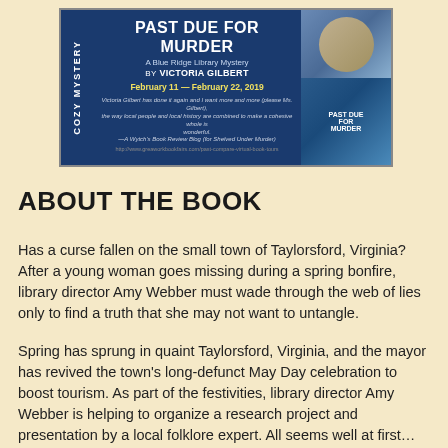[Figure (illustration): Book tour banner for 'Past Due for Murder: A Blue Ridge Library Mystery by Victoria Gilbert', dated February 11 - February 22, 2019. Features a Cozy Mystery vertical strip on left, author photo and book cover on right, with a quote from a book review blog.]
ABOUT THE BOOK
Has a curse fallen on the small town of Taylorsford, Virginia? After a young woman goes missing during a spring bonfire, library director Amy Webber must wade through the web of lies only to find a truth that she may not want to untangle.
Spring has sprung in quaint Taylorsford, Virginia, and the mayor has revived the town's long-defunct May Day celebration to boost tourism. As part of the festivities, library director Amy Webber is helping to organize a research project and presentation by a local folklore expert. All seems well at first… but spring takes on a sudden chill when a